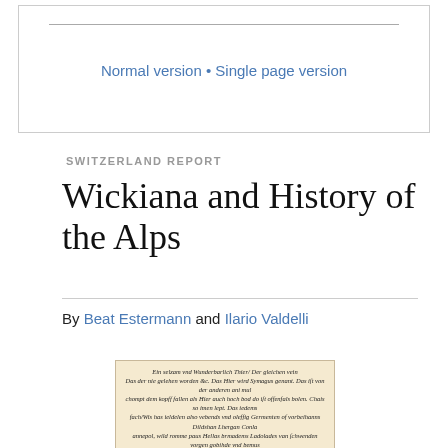Normal version • Single page version
SWITZERLAND REPORT
Wickiana and History of the Alps
By Beat Estermann and Ilario Valdelli
[Figure (illustration): Historical broadsheet illustration with old German text at top and a figure of a person/creature below, printed on aged paper with decorative border.]